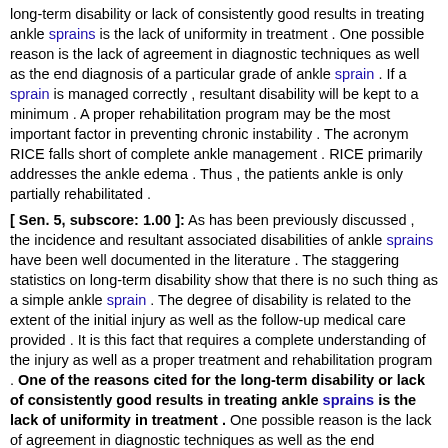long-term disability or lack of consistently good results in treating ankle sprains is the lack of uniformity in treatment . One possible reason is the lack of agreement in diagnostic techniques as well as the end diagnosis of a particular grade of ankle sprain . If a sprain is managed correctly , resultant disability will be kept to a minimum . A proper rehabilitation program may be the most important factor in preventing chronic instability . The acronym RICE falls short of complete ankle management . RICE primarily addresses the ankle edema . Thus , the patients ankle is only partially rehabilitated .
[ Sen. 5, subscore: 1.00 ]: As has been previously discussed , the incidence and resultant associated disabilities of ankle sprains have been well documented in the literature . The staggering statistics on long-term disability show that there is no such thing as a simple ankle sprain . The degree of disability is related to the extent of the initial injury as well as the follow-up medical care provided . It is this fact that requires a complete understanding of the injury as well as a proper treatment and rehabilitation program . One of the reasons cited for the long-term disability or lack of consistently good results in treating ankle sprains is the lack of uniformity in treatment . One possible reason is the lack of agreement in diagnostic techniques as well as the end diagnosis of a particular grade of ankle sprain . If a sprain is managed correctly , resultant disability will be kept to a minimum . A proper rehabilitation program may be the most important factor in preventing chronic instability . The acronym RICE falls short of complete ankle management . RICE primarily addresses the ankle edema . Thus , the patients ankle is only partially rehabilitated . A rational approach to the management of ankle sprains is given . Upon reviewing a complete protocol for ankle sprain rehabilitation , the acronym TEMPER can be used judiciously to remember the key steps in the treatment plan . Through the use of this acronym , one can institute a complete